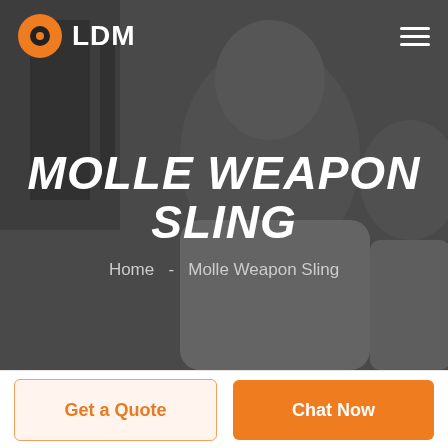[Figure (screenshot): Hero banner with grayscale background photo of a smiling man and woman. Dark overlay applied. Shows LDM logo with orange icon at top left, hamburger menu at top right, large bold italic title 'MOLLE WEAPON SLING' centered, and breadcrumb navigation 'Home - Molle Weapon Sling' below.]
MOLLE WEAPON SLING
Home  -  Molle Weapon Sling
Get a Quote
Chat Now